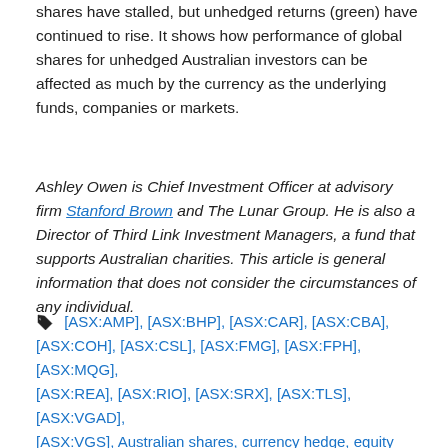shares have stalled, but unhedged returns (green) have continued to rise. It shows how performance of global shares for unhedged Australian investors can be affected as much by the currency as the underlying funds, companies or markets.
Ashley Owen is Chief Investment Officer at advisory firm Stanford Brown and The Lunar Group. He is also a Director of Third Link Investment Managers, a fund that supports Australian charities. This article is general information that does not consider the circumstances of any individual.
[ASX:AMP], [ASX:BHP], [ASX:CAR], [ASX:CBA], [ASX:COH], [ASX:CSL], [ASX:FMG], [ASX:FPH], [ASX:MQG], [ASX:REA], [ASX:RIO], [ASX:SRX], [ASX:TLS], [ASX:VGAD], [ASX:VGS], Australian shares, currency hedge, equity returns, global shares, share markets